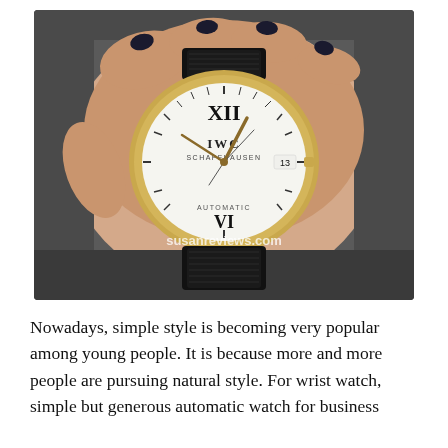[Figure (photo): A hand holding an IWC Schaffhausen Portofino Automatic watch with a white dial, Roman numerals (XII and VI visible), gold case, black leather strap, date window showing 13, and a watermark reading 'susanreviews.com' at the bottom of the watch face. The background is dark grey.]
Nowadays, simple style is becoming very popular among young people. It is because more and more people are pursuing natural style. For wrist watch, simple but generous automatic watch for business